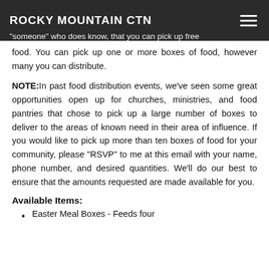ROCKY MOUNTAIN CTN
food. You can pick up one or more boxes of food, however many you can distribute.
NOTE: In past food distribution events, we've seen some great opportunities open up for churches, ministries, and food pantries that chose to pick up a large number of boxes to deliver to the areas of known need in their area of influence. If you would like to pick up more than ten boxes of food for your community, please "RSVP" to me at this email with your name, phone number, and desired quantities. We'll do our best to ensure that the amounts requested are made available for you.
Available Items:
Easter Meal Boxes - Feeds four